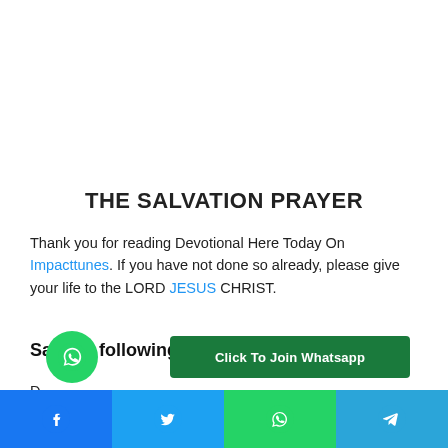THE SALVATION PRAYER
Thank you for reading Devotional Here Today On Impacttunes. If you have not done so already, please give your life to the LORD JESUS CHRIST.
Say the following prayer
D... me...
[Figure (other): WhatsApp floating chat button (green circle with WhatsApp icon) and a dark green 'Click To Join Whatsapp' banner button]
Social share bar with Facebook, Twitter, WhatsApp, and Telegram icons